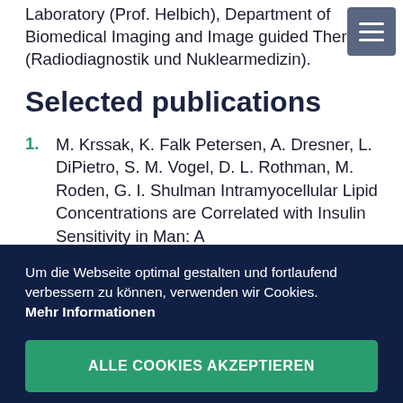Laboratory (Prof. Helbich), Department of Biomedical Imaging and Image guided Therapy (Radiodiagnostik und Nuklearmedizin).
Selected publications
1. M. Krssak, K. Falk Petersen, A. Dresner, L. DiPietro, S. M. Vogel, D. L. Rothman, M. Roden, G. I. Shulman Intramyocellular Lipid Concentrations are Correlated with Insulin Sensitivity in Man: A
Um die Webseite optimal gestalten und fortlaufend verbessern zu können, verwenden wir Cookies.
Mehr Informationen
ALLE COOKIES AKZEPTIEREN
Nein, individuelle Entscheidung treffen